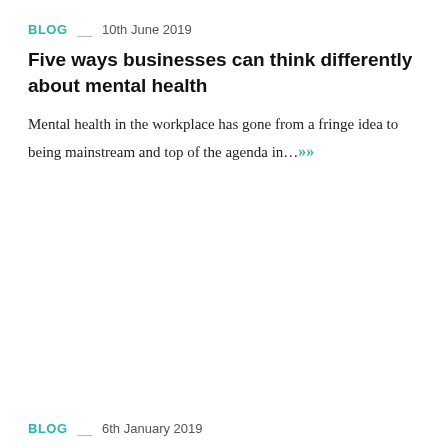BLOG   10th June 2019
Five ways businesses can think differently about mental health
Mental health in the workplace has gone from a fringe idea to being mainstream and top of the agenda in…
BLOG   6th January 2019